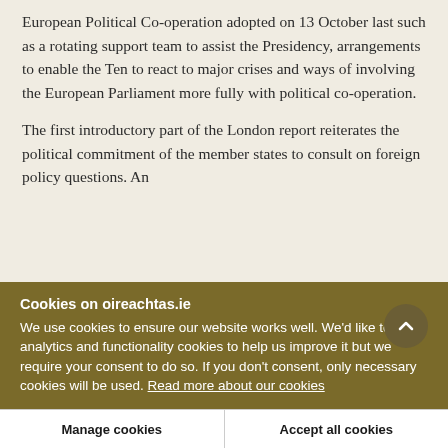innovations introduced in the London Report on European Political Co-operation adopted on 13 October last such as a rotating support team to assist the Presidency, arrangements to enable the Ten to react to major crises and ways of involving the European Parliament more fully with political co-operation.
The first introductory part of the London report reiterates the political commitment of the member states to consult on foreign policy questions. An
Cookies on oireachtas.ie
We use cookies to ensure our website works well. We'd like to use analytics and functionality cookies to help us improve it but we require your consent to do so. If you don't consent, only necessary cookies will be used. Read more about our cookies
Manage cookies
Accept all cookies